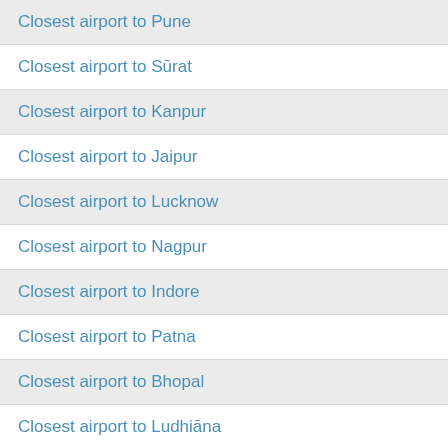Closest airport to Pune
Closest airport to Sūrat
Closest airport to Kanpur
Closest airport to Jaipur
Closest airport to Lucknow
Closest airport to Nagpur
Closest airport to Indore
Closest airport to Patna
Closest airport to Bhopal
Closest airport to Ludhiāna
Closest airport to Tirunelveli
Closest airport to Agra